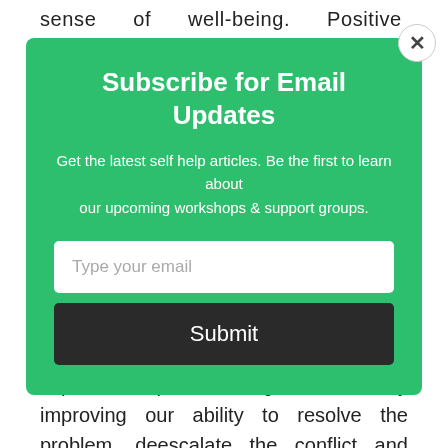sense of well-being. Positive feelings o…
Subscribe for Email Updates
Get the latest self help articles. Be the first to learn about our upcoming workshops & support groups.
Type your email
Submit
This means that we are viewing our relationship and each other through a positive lens, which can dramatically impact couples during conflict by improving our ability to resolve the problem, deescalate the conflict and reconnect or repair the relationship.